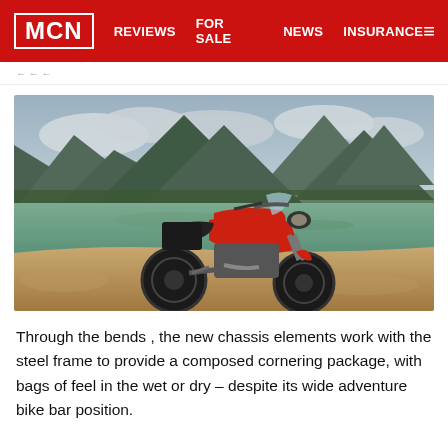MCN | REVIEWS | FOR SALE | NEWS | INSURANCE
[Figure (photo): A red and black adventure motorcycle (Honda CB500X style) parked on rocky terrain beside a calm mountain lake, with green hills and dramatic cloudy sky in the background.]
Through the bends , the new chassis elements work with the steel frame to provide a composed cornering package, with bags of feel in the wet or dry – despite its wide adventure bike bar position.